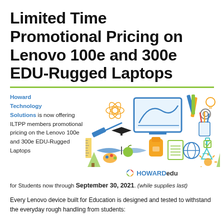Limited Time Promotional Pricing on Lenovo 100e and 300e EDU-Rugged Laptops
[Figure (illustration): Education-themed illustration with icons including a laptop/monitor showing a graph, science flask, atom, telescope, graduation cap, open book, backpack, globe, pencils, gears, ruler, lightbulb, apple, paint palette, and other school/tech items. HOWARDedu logo beneath.]
Howard Technology Solutions is now offering ILTPP members promotional pricing on the Lenovo 100e and 300e EDU-Rugged Laptops for Students now through September 30, 2021. (while supplies last)
Every Lenovo device built for Education is designed and tested to withstand the everyday rough handling from students: